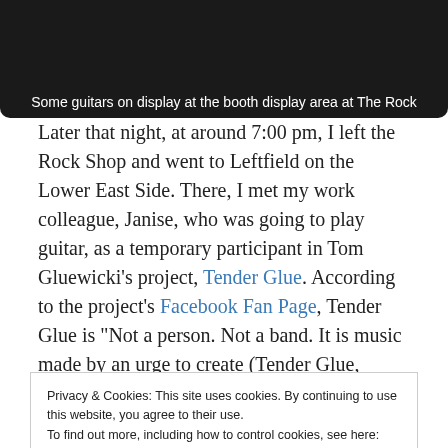[Figure (photo): Dark display area showing guitars at The Rock booth]
Some guitars on display at the booth display area at The Rock
Later that night, at around 7:00 pm, I left the Rock Shop and went to Leftfield on the Lower East Side. There, I met my work colleague, Janise, who was going to play guitar, as a temporary participant in Tom Gluewicki's project, Tender Glue. According to the project's Facebook Fan Page, Tender Glue is “Not a person. Not a band. It is music made by an urge to create (Tender Glue, Facebook, 2015).” Tom explains that Tender Glue is only him for now
Privacy & Cookies: This site uses cookies. By continuing to use this website, you agree to their use.
To find out more, including how to control cookies, see here: Cookie Policy
Tender Glue’s music has a structure that, pays ode to the